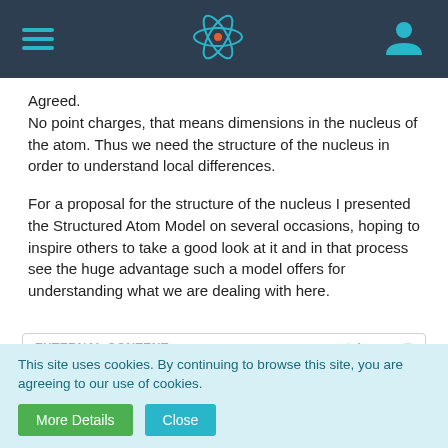Navigation bar with hamburger menu, atom logo, and user icon
Agreed.
No point charges, that means dimensions in the nucleus of the atom. Thus we need the structure of the nucleus in order to understand local differences.
For a proposal for the structure of the nucleus I presented the Structured Atom Model on several occasions, hoping to inspire others to take a good look at it and in that process see the huge advantage such a model offers for understanding what we are dealing with here.
EXTERNAL CONTENT
www.youtube.com
Content embedded from external sources will not be displayed without your consent.
This site uses cookies. By continuing to browse this site, you are agreeing to our use of cookies.